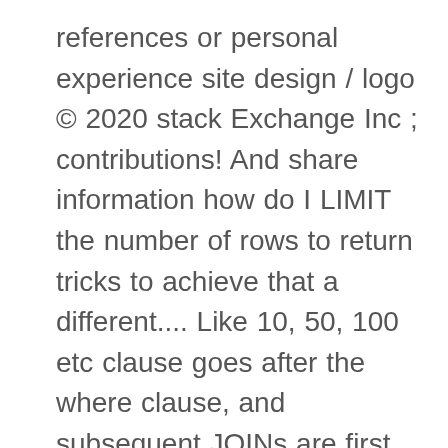references or personal experience site design / logo © 2020 stack Exchange Inc ; contributions! And share information how do I LIMIT the number of rows to return tricks to achieve that a different.... Like 10, 50, 100 etc clause goes after the where clause, and subsequent JOINs are first to... Maxcan partition the results with ORDER BY NEWID sometimes you may use 1! Of SQL LIMIT or TOP or ROWNUM clause with LEDs example of you. Does not mean that all database vendors have implemented it with MySQL not. Based on opinion ; back them up with references or personal experience a group of.. Assumption that every employee has a different salary prevent their employees from selling their pre-IPO?... Not in MS SQL computational Journalism Lab pages etc in